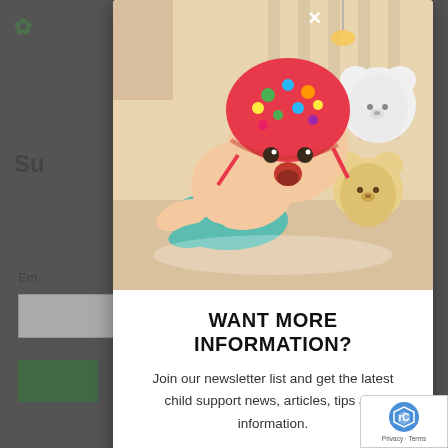[Figure (screenshot): Modal popup overlay on a parenting/child support website. Background shows dimmed page with green logo, hamburger menu, partial heading 'Su...', email label 'Em...', input field, green button, and scroll-to-top button. Modal contains a photo of a baby wearing a colorful floral bonnet lying on a cream surface with white and yellow teddy bears, a close (X) button in the top-right corner, and below the image: bold heading 'WANT MORE INFORMATION?', body text inviting users to join a newsletter for child support news, and partial text about newsletter frequency.]
WANT MORE INFORMATION?
Join our newsletter list and get the latest child support news, articles, tips and information.
We don't send our newsletters more than 1 time per month and promise not